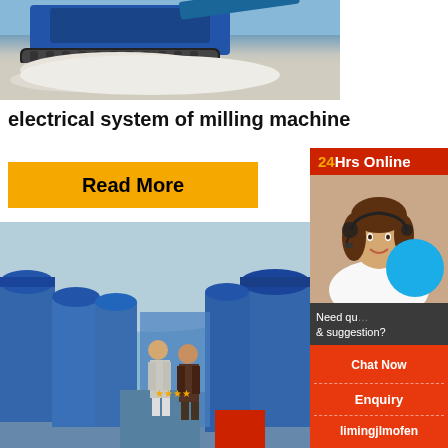[Figure (photo): Outdoor mining/crushing machine (blue crawler crusher) operating on white crushed material/gravel, industrial site]
electrical system of milling machine
Read More
[Figure (photo): Factory floor showing rows of large blue industrial milling/grinding machines under a curved roof structure, two people (in suits) standing and talking in the middle aisle]
[Figure (photo): Customer service sidebar: 24Hrs Online banner, woman with headset smiling, blue circle graphic, 'Need questions & suggestion?' text, Chat Now button, Enquiry link, limingjlmofen link]